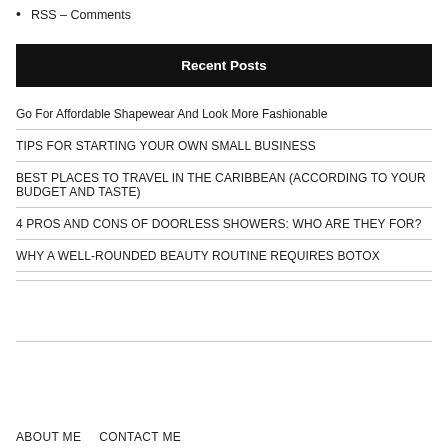RSS – Comments
Recent Posts
Go For Affordable Shapewear And Look More Fashionable
TIPS FOR STARTING YOUR OWN SMALL BUSINESS
BEST PLACES TO TRAVEL IN THE CARIBBEAN (ACCORDING TO YOUR BUDGET AND TASTE)
4 PROS AND CONS OF DOORLESS SHOWERS: WHO ARE THEY FOR?
WHY A WELL-ROUNDED BEAUTY ROUTINE REQUIRES BOTOX
ABOUT ME    CONTACT ME